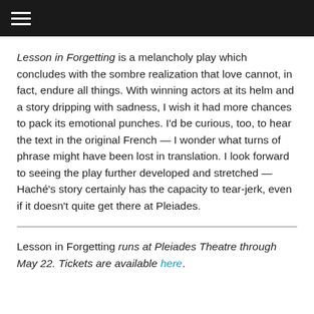≡
Lesson in Forgetting is a melancholy play which concludes with the sombre realization that love cannot, in fact, endure all things. With winning actors at its helm and a story dripping with sadness, I wish it had more chances to pack its emotional punches. I'd be curious, too, to hear the text in the original French — I wonder what turns of phrase might have been lost in translation. I look forward to seeing the play further developed and stretched — Haché's story certainly has the capacity to tear-jerk, even if it doesn't quite get there at Pleiades.
Lesson in Forgetting runs at Pleiades Theatre through May 22. Tickets are available here.